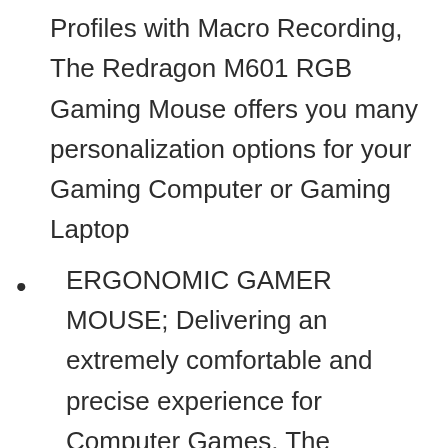Profiles with Macro Recording, The Redragon M601 RGB Gaming Mouse offers you many personalization options for your Gaming Computer or Gaming Laptop
ERGONOMIC GAMER MOUSE; Delivering an extremely comfortable and precise experience for Computer Games. The ergonomic shape of the Redragon M601 RGB Gaming Mouse offers comfort, fits naturally in your hand while the buttons are